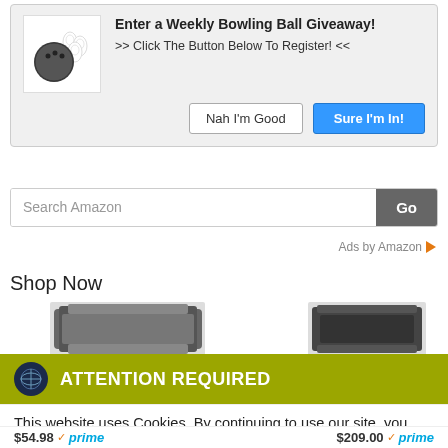[Figure (infographic): Weekly Bowling Ball Giveaway popup banner with bowling ball and pins icon, 'Nah I'm Good' and 'Sure I'm In!' buttons]
[Figure (screenshot): Amazon search bar with 'Search Amazon' placeholder text and 'Go' button]
Ads by Amazon
Shop Now
[Figure (photo): Product thumbnail images partially visible]
ATTENTION REQUIRED
This website uses Cookies. By continuing to use our site, you consent to the use of cookies.
Accept    Privacy Center
$54.98 ✓prime    $209.00 ✓prime